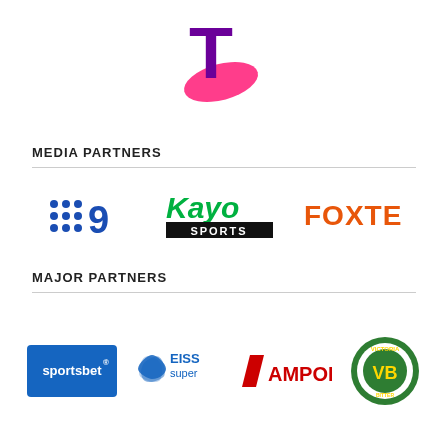[Figure (logo): Telstra logo - purple T with pink swoosh ellipse]
MEDIA PARTNERS
[Figure (logo): Channel 9 logo - blue dots grid forming a 9]
[Figure (logo): Kayo Sports logo - green italic Kayo text with black SPORTS bar]
[Figure (logo): Foxtel logo - orange bold FOXTEL text]
MAJOR PARTNERS
[Figure (logo): Sportsbet logo - blue rectangle with white sportsbet text]
[Figure (logo): EISS super logo - blue pinwheel with EISS super text]
[Figure (logo): Ampol logo - red diagonal stripe with AMPOL text]
[Figure (logo): Victoria Bitter VB circular badge logo]